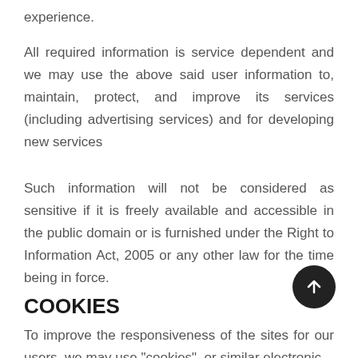experience.
All required information is service dependent and we may use the above said user information to, maintain, protect, and improve its services (including advertising services) and for developing new services
Such information will not be considered as sensitive if it is freely available and accessible in the public domain or is furnished under the Right to Information Act, 2005 or any other law for the time being in force.
COOKIES
To improve the responsiveness of the sites for our users, we may use "cookies", or similar electronic